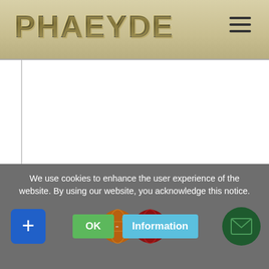[Figure (logo): PHAEYDE logo in dark metallic letters on a tan/gold gradient header background, with a hamburger menu icon on the right]
[Figure (screenshot): White content area below the header, mostly blank white page]
We use cookies to enhance the user experience of the website. By using our website, you acknowledge this notice.
[Figure (infographic): Cookie consent overlay with a blue plus button, globe/social icons, green OK button, blue Information button, and a dark green email circle button]